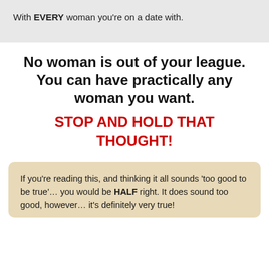With EVERY woman you're on a date with.
No woman is out of your league. You can have practically any woman you want.
STOP AND HOLD THAT THOUGHT!
If you're reading this, and thinking it all sounds 'too good to be true'… you would be HALF right. It does sound too good, however... it's definitely very true!